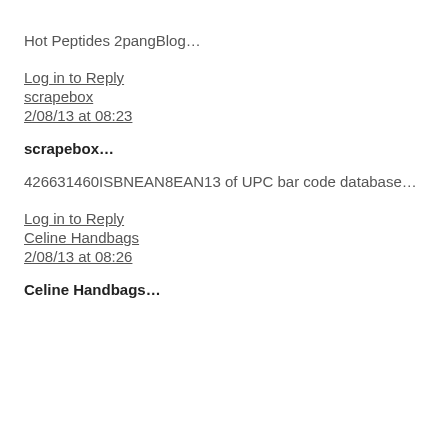Hot Peptides 2pangBlog…
Log in to Reply
scrapebox
2/08/13 at 08:23
scrapebox…
426631460ISBNEAN8EAN13 of UPC bar code database…
Log in to Reply
Celine Handbags
2/08/13 at 08:26
Celine Handbags…